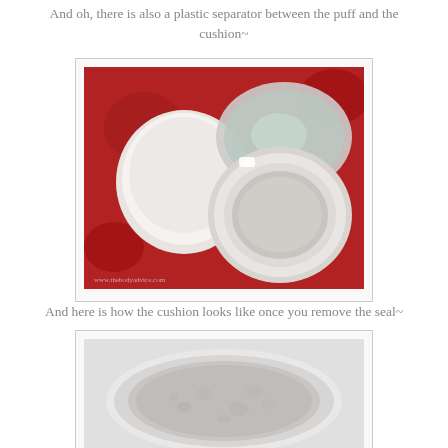And oh, there is also a plastic separator between the puff and the cushion~
[Figure (photo): Open cushion compact showing white plastic separator/puff cover on left and the cushion refill on right, with mirror visible, on red floral background. Watermark text visible at bottom left.]
And here is how the cushion looks like once you remove the seal~
[Figure (photo): Close-up top-down view of the cushion foundation pad inside white circular case, showing the gray/white sponge cushion surface.]